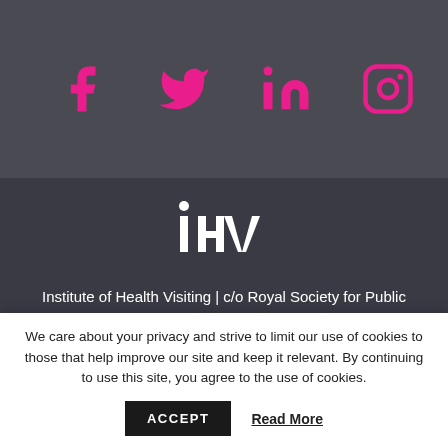[Figure (logo): Social media icons bar: Facebook, Twitter, LinkedIn, Instagram icons in pink/magenta on dark grey background]
[Figure (logo): IHV (Institute of Health Visiting) logo in white on dark background]
Institute of Health Visiting | c/o Royal Society for Public Health, John Snow House, 59 Mansell Street, London E1 8AN
Tel: +44 (0) 207 265 7352 | Email:
We care about your privacy and strive to limit our use of cookies to those that help improve our site and keep it relevant. By continuing to use this site, you agree to the use of cookies.
ACCEPT
Read More